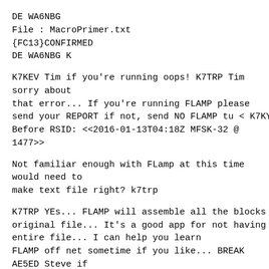DE WA6NBG
File : MacroPrimer.txt
{FC13}CONFIRMED
DE WA6NBG K
K7KEV Tim if you're running oops! K7TRP Tim sorry about that error... If you're running FLAMP please send your REPORT if not, send NO FLAMP tu < K7KY Before RSID: <<2016-01-13T04:18Z MFSK-32 @ 1477>>
Not familiar enough with FLamp at this time would need to make text file right? k7trp
K7TRP YEs... FLAMP will assemble all the blocks into the original file... It's a good app for not having to resend an entire file... I can help you learn FLAMP off net sometime if you like... BREAK AE5ED Steve if you run flamp, send your report now, if not NoFlamp is good... tu < K7KY AE5ED < K7KY Steve is in SD and we may have lost him ur here Steve...? < K7KY W7ZAP FLAMP